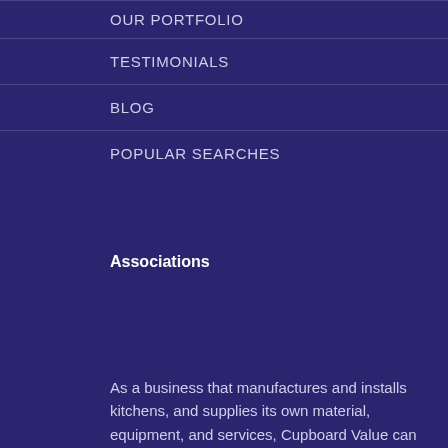OUR PORTFOLIO
TESTIMONIALS
BLOG
POPULAR SEARCHES
Associations
As a business that manufactures and installs kitchens, and supplies its own material, equipment, and services, Cupboard Value can offer clients an assurance that few other